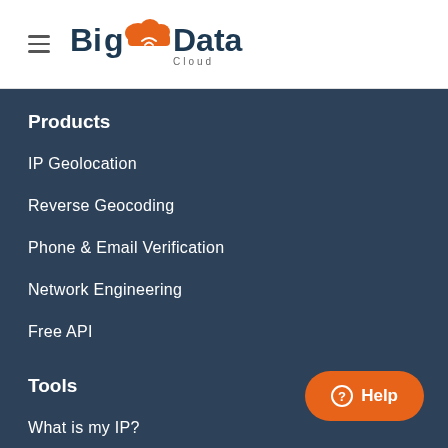[Figure (logo): BigData Cloud logo with orange cloud graphic and dark navy text]
Products
IP Geolocation
Reverse Geocoding
Phone & Email Verification
Network Engineering
Free API
Tools
What is my IP?